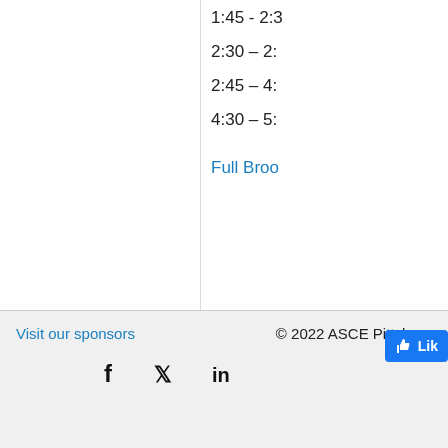1:45 - 2:3
2:30 – 2:
2:45 – 4:
4:30 – 5:
Full Broc
Visit our sponsors
© 2022 ASCE Pittsburg
[Figure (other): Social media icons: Facebook, Twitter, LinkedIn]
Like